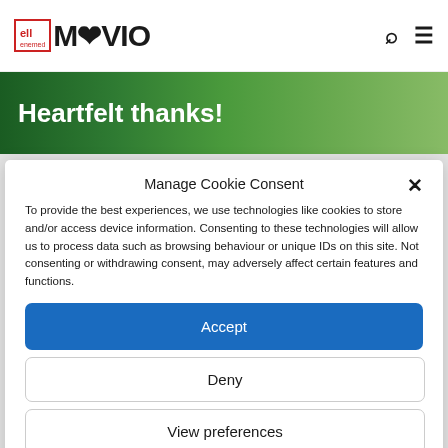enemed MAVIO [logo with search and menu icons]
[Figure (photo): Green background hero image with white bold text reading 'Heartfelt thanks!']
Manage Cookie Consent
To provide the best experiences, we use technologies like cookies to store and/or access device information. Consenting to these technologies will allow us to process data such as browsing behaviour or unique IDs on this site. Not consenting or withdrawing consent, may adversely affect certain features and functions.
Accept
Deny
View preferences
Cookie Policy